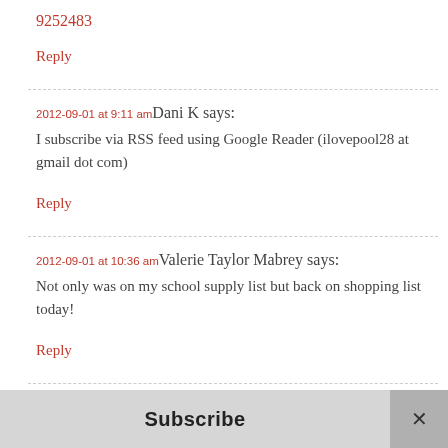9252483
Reply
2012-09-01 at 9:11 am Dani K says:
I subscribe via RSS feed using Google Reader (ilovepool28 at gmail dot com)
Reply
2012-09-01 at 10:36 am Valerie Taylor Mabrey says:
Not only was on my school supply list but back on shopping list today!
Reply
2012-09-01 at 10:36 am Valerie Taylor Mabrey says:
Subscribe